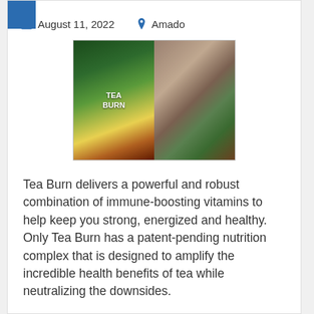August 11, 2022   Amado
[Figure (photo): Tea Burn product image collage showing the Tea Burn package alongside various tea and drink images]
Tea Burn delivers a powerful and robust combination of immune-boosting vitamins to help keep you strong, energized and healthy. Only Tea Burn has a patent-pending nutrition complex that is designed to amplify the incredible health benefits of tea while neutralizing the downsides.
View Website   Read more